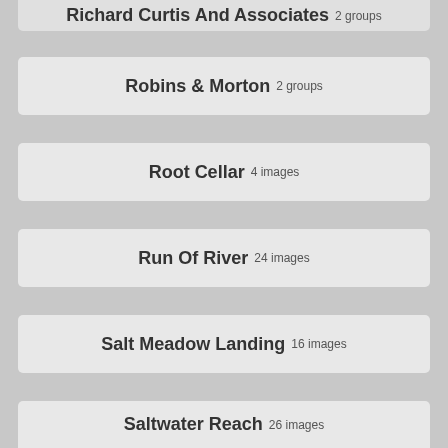Richard Curtis And Associates 2 groups
Robins & Morton 2 groups
Root Cellar 4 images
Run Of River 24 images
Salt Meadow Landing 16 images
Saltwater Reach 26 images
Sam Marshall Architects 5 groups
Scarks 6 images
Seaport Development Group 1 groups
Selwyn Technologies (partial)